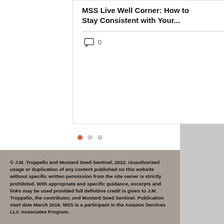MSS Live Well Corner: How to Stay Consistent with Your...
[Figure (other): Carousel pagination dots: one red active dot and two grey dots]
© J.M. Troppello and Mustard Seed Sentinel, 2022. Unauthorized usage or duplication of any content published on this website without specific written permission from the site owner is strictly prohibited. With appropriate and specific guidance, excerpts and links may be used provided full definitive credit is given to J.M. Troppello, the contributor, and Mustard Seed Sentinel. Publication start date March 2016. MSS is a participant in the Amazon Services LLC Associates Program.